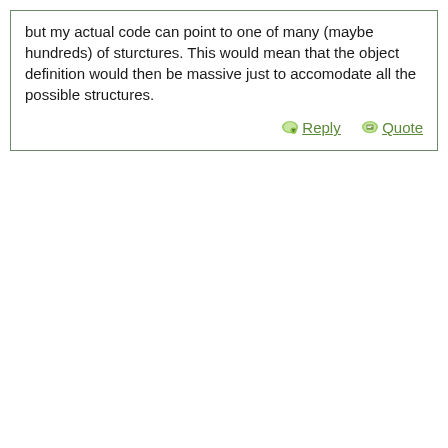but my actual code can point to one of many (maybe hundreds) of sturctures. This would mean that the object definition would then be massive just to accomodate all the possible structures.